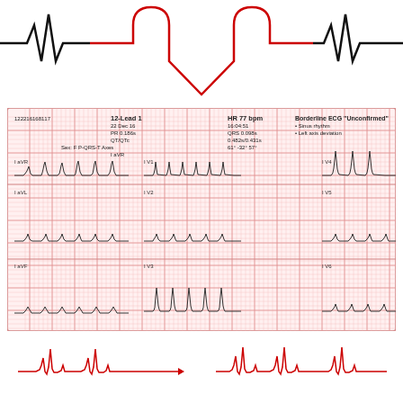[Figure (illustration): Heart rate monitor graphic with ECG waveform peaks forming a heart shape outline at the top, in red and black]
[Figure (other): 12-Lead ECG strip showing: Patient ID 122216168117, 12-Lead 1, 22 Dec 16, PR 0.186s, QT/QTc, Sex: F, P-QRS-T Axes, HR 77 bpm, 16:04:51, QRS 0.098s, 0.482s/0.431s, 61° -32° 57°. Interpretation: Borderline ECG Unconfirmed - Sinus rhythm, Left axis deviation. Leads shown: I aVR, I aVL, I aVF, I V1, I V2, I V3, I V4, I V5, I V6. ECG tracing on standard pink grid paper.]
[Figure (other): Two decorative ECG waveform lines in red at the bottom of the page]